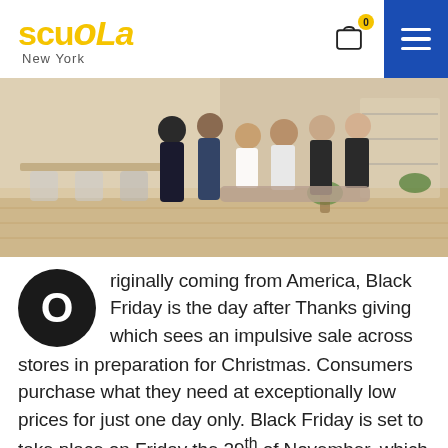scuola New York
[Figure (photo): Group of women sitting and standing together in a bright, modern interior space with wooden floors, dining table, chairs, and plants in the background.]
Originally coming from America, Black Friday is the day after Thanksgiving which sees an impulsive sale across stores in preparation for Christmas. Consumers purchase what they need at exceptionally low prices for just one day only. Black Friday is set to take place on Friday the 29th of November, which means a day of sales across the UK taking place for